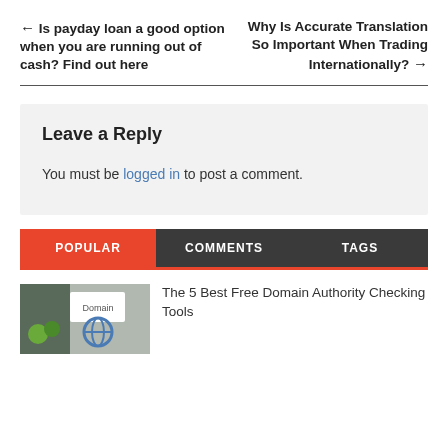← Is payday loan a good option when you are running out of cash? Find out here
Why Is Accurate Translation So Important When Trading Internationally? →
Leave a Reply
You must be logged in to post a comment.
POPULAR | COMMENTS | TAGS
The 5 Best Free Domain Authority Checking Tools